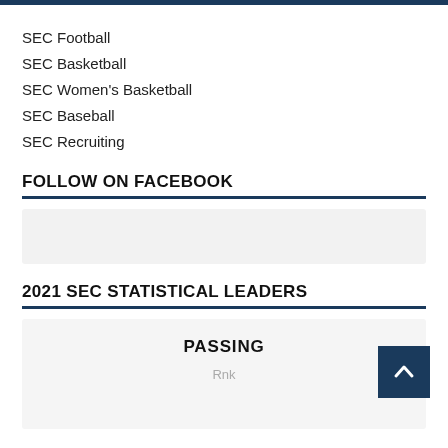SEC Football
SEC Basketball
SEC Women's Basketball
SEC Baseball
SEC Recruiting
FOLLOW ON FACEBOOK
[Figure (other): Facebook follow widget placeholder box]
2021 SEC STATISTICAL LEADERS
PASSING
Rnk